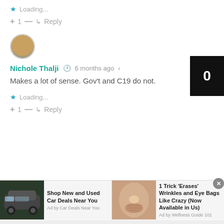★ Loading...
+ 1 — ↳ Reply
[Figure (photo): Avatar photo of Nichole Thalji, a small circular profile picture]
Nichole Thalji  🕐 6 months ago  🔗
Makes a lot of sense. Gov't and C19 do not.
★ Loading...
+ 1 — ↳ Reply
[Figure (photo): Black badge overlay showing the number 0]
[Figure (photo): Advertisement: car image with text 'Shop New and Used Car Deals Near You', Ad by Car Deals Near You]
[Figure (photo): Advertisement: close-up skin image with text '1 Trick Erases Wrinkles and Eye Bags Like Crazy (Now Available in Us)', Ad by Wellness Guide 101]